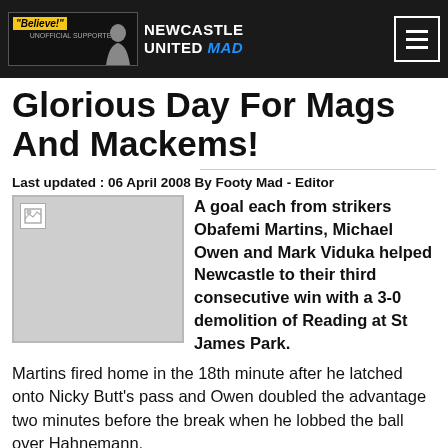NEWCASTLE UNITED MAD
Glorious Day For Mags And Mackems!
Last updated : 06 April 2008 By Footy Mad - Editor
[Figure (photo): Broken image placeholder (grey box with broken image icon)]
A goal each from strikers Obafemi Martins, Michael Owen and Mark Viduka helped Newcastle to their third consecutive win with a 3-0 demolition of Reading at St James Park.
Martins fired home in the 18th minute after he latched onto Nicky Butt's pass and Owen doubled the advantage two minutes before the break when he lobbed the ball over Hahnemann.